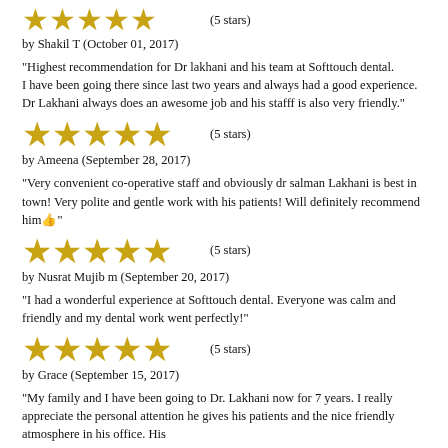[Figure (other): 5 gold stars rating]
(5 stars)
by Shakil T (October 01, 2017)
"Highest recommendation for Dr lakhani and his team at Softtouch dental.
I have been going there since last two years and always had a good experience.
Dr Lakhani always does an awesome job and his stafff is also very friendly."
[Figure (other): 5 gold stars rating]
(5 stars)
by Ameena (September 28, 2017)
"Very convenient co-operative staff and obviously dr salman Lakhani is best in town! Very polite and gentle work with his patients! Will definitely recommend himð"
[Figure (other): 5 gold stars rating]
(5 stars)
by Nusrat Mujib m (September 20, 2017)
"I had a wonderful experience at Softtouch dental. Everyone was calm and friendly and my dental work went perfectly!"
[Figure (other): 5 gold stars rating]
(5 stars)
by Grace (September 15, 2017)
"My family and I have been going to Dr. Lakhani now for 7 years. I really appreciate the personal attention he gives his patients and the nice friendly atmosphere in his office. His